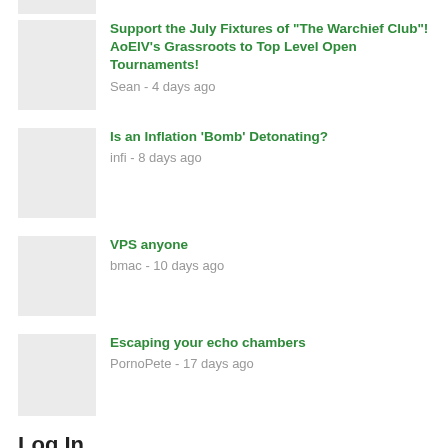Support the July Fixtures of "The Warchief Club"! AoEIV's Grassroots to Top Level Open Tournaments!
Sean - 4 days ago
Is an Inflation 'Bomb' Detonating?
infi - 8 days ago
VPS anyone
bmac - 10 days ago
Escaping your echo chambers
PornoPete - 17 days ago
Log In
User:
Pass:
LOGIN